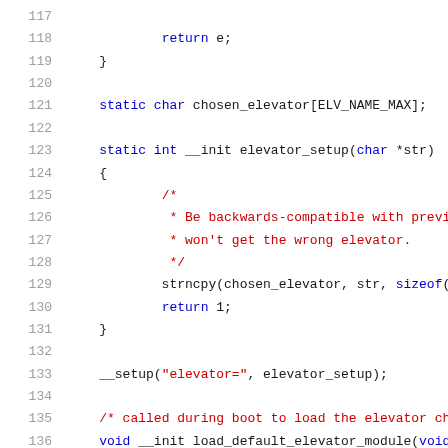[Figure (screenshot): Source code listing (C language), lines 117-137, showing elevator scheduler code including chosen_elevator variable declaration, elevator_setup function, and load_default_elevator_module function header.]